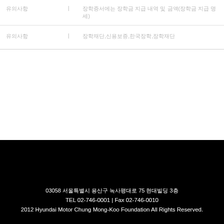| 유의사항 | | | 장학증서에는 장학금 지급 내역 및 금액(장학금 지급 명세) |
| 유의사항 | | | 장학재단,신용보증,한국장학,장학재단 |
03058 서울특별시 용산구 녹사평대로 75 현대빌딩 3층
TEL 02-746-0001 | Fax 02-746-0010
2012 Hyundai Motor Chung Mong-Koo Foundation All Rights Reserved.